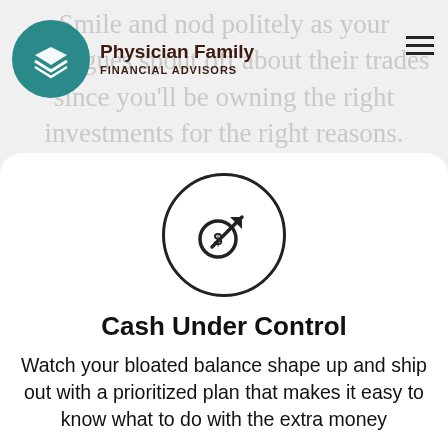Physician Family Financial Advisors
Smile and nod politely as your colleagues spout off about their trades since you'll be owning the right investments for the right reasons.
[Figure (illustration): Circle icon with a dollar sign coin and upward-pointing arrow, representing financial growth or cash management.]
Cash Under Control
Watch your bloated balance shape up and ship out with a prioritized plan that makes it easy to know what to do with the extra money